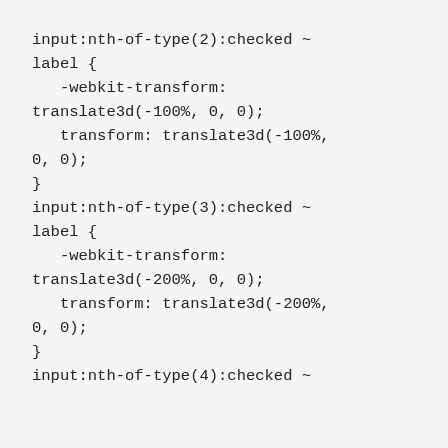input:nth-of-type(2):checked ~ label {
    -webkit-transform: translate3d(-100%, 0, 0);
    transform: translate3d(-100%, 0, 0);
}
input:nth-of-type(3):checked ~ label {
    -webkit-transform: translate3d(-200%, 0, 0);
    transform: translate3d(-200%, 0, 0);
}
input:nth-of-type(4):checked ~